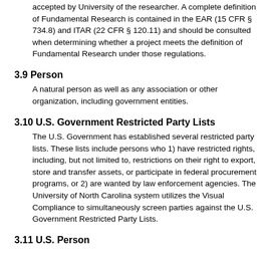accepted by University of the researcher. A complete definition of Fundamental Research is contained in the EAR (15 CFR § 734.8) and ITAR (22 CFR § 120.11) and should be consulted when determining whether a project meets the definition of Fundamental Research under those regulations.
3.9 Person
A natural person as well as any association or other organization, including government entities.
3.10 U.S. Government Restricted Party Lists
The U.S. Government has established several restricted party lists. These lists include persons who 1) have restricted rights, including, but not limited to, restrictions on their right to export, store and transfer assets, or participate in federal procurement programs, or 2) are wanted by law enforcement agencies. The University of North Carolina system utilizes the Visual Compliance to simultaneously screen parties against the U.S. Government Restricted Party Lists.
3.11 U.S. Person